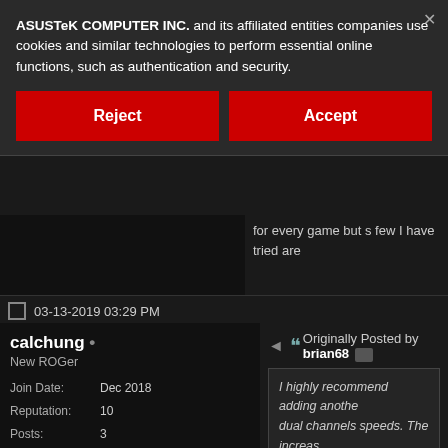ASUSTeK COMPUTER INC. and its affiliated entities companies use cookies and similar technologies to perform essential online functions, such as authentication and security.
Reject
Accept
for every game but s few I have tried are
03-13-2019 03:29 PM
calchung •
New ROGer
Join Date: Dec 2018
Reputation: 10
Posts: 3
Originally Posted by brian68
I highly recommend adding anothe dual channels speeds. The increas is very significant. I get around 15 V just by doing this. May not work I have tried are all faster.*
Yup. I put another 16gb of ram inside and
I have a few gestions for you as you ha